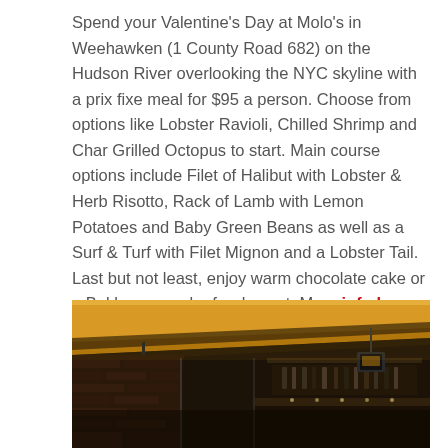Spend your Valentine's Day at Molo's in Weehawken (1 County Road 682) on the Hudson River overlooking the NYC skyline with a prix fixe meal for $95 a person. Choose from options like Lobster Ravioli, Chilled Shrimp and Char Grilled Octopus to start. Main course options include Filet of Halibut with Lobster & Herb Risotto, Rack of Lamb with Lemon Potatoes and Baby Green Beans as well as a Surf & Turf with Filet Mignon and a Lobster Tail. Last but not least, enjoy warm chocolate cake or a Baklava sampler for dessert. More info here.
[Figure (photo): Interior of Molo's restaurant showing warm amber ceiling lights, pendant lamps, brick wall, bar area in background]